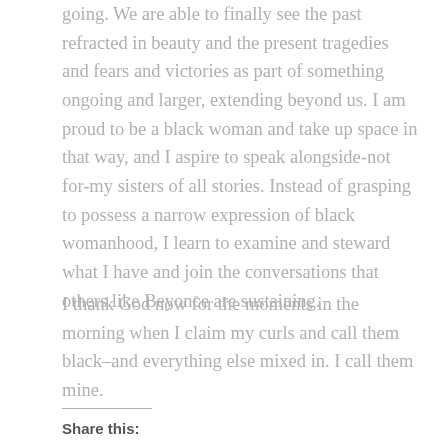going. We are able to finally see the past refracted in beauty and the present tragedies and fears and victories as part of something ongoing and larger, extending beyond us. I am proud to be a black woman and take up space in that way, and I aspire to speak alongside-not for-my sisters of all stories. Instead of grasping to possess a narrow expression of black womanhood, I learn to examine and steward what I have and join the conversations that others like Beyonce are sustaining.
I thank God now for the moments in the morning when I claim my curls and call them black–and everything else mixed in. I call them mine.
Share this: